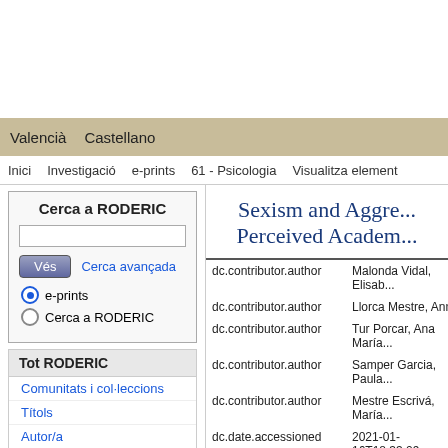Valencià   Castellano
Inici   Investigació   e-prints   61 - Psicologia   Visualitza element
Cerca a RODERIC
Sexism and Aggre... Perceived Academ...
| Field | Value |
| --- | --- |
| dc.contributor.author | Malonda Vidal, Elisab... |
| dc.contributor.author | Llorca Mestre, Anna |
| dc.contributor.author | Tur Porcar, Ana María... |
| dc.contributor.author | Samper Garcia, Paula... |
| dc.contributor.author | Mestre Escrivá, María... |
| dc.date.accessioned | 2021-01-16T18:33:09... |
| dc.date.available | 2021-01-16T18:33:09... |
| dc.date.issued | 2018 |
| dc.identifier.uri | https://hdl.handle.net/... |
| dc.description.abstract | Sexist attitudes are ro... |
Comunitats i col·leccions
Títols
Autor/a
Matèries
Tipus de document